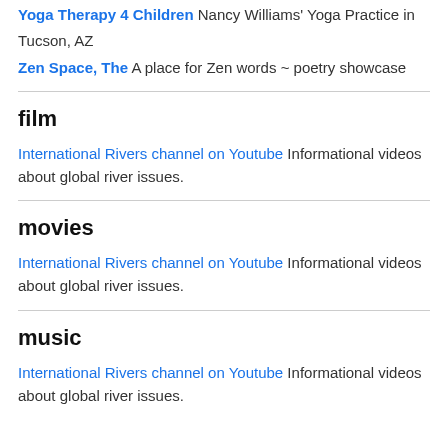Yoga Therapy 4 Children Nancy Williams' Yoga Practice in Tucson, AZ
Zen Space, The A place for Zen words ~ poetry showcase
film
International Rivers channel on Youtube Informational videos about global river issues.
movies
International Rivers channel on Youtube Informational videos about global river issues.
music
International Rivers channel on Youtube Informational videos about global river issues.